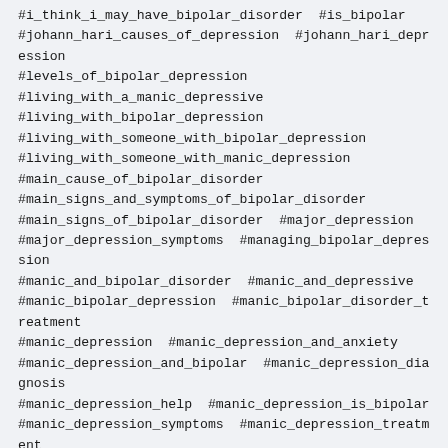#i_think_i_may_have_bipolar_disorder  #is_bipolar #johann_hari_causes_of_depression  #johann_hari_depression #levels_of_bipolar_depression #living_with_a_manic_depressive #living_with_bipolar_depression #living_with_someone_with_bipolar_depression #living_with_someone_with_manic_depression #main_cause_of_bipolar_disorder #main_signs_and_symptoms_of_bipolar_disorder #main_signs_of_bipolar_disorder  #major_depression #major_depression_symptoms  #managing_bipolar_depression #manic_and_bipolar_disorder  #manic_and_depressive #manic_bipolar_depression  #manic_bipolar_disorder_treatment #manic_depression  #manic_depression_and_anxiety #manic_depression_and_bipolar  #manic_depression_diagnosis #manic_depression_help  #manic_depression_is_bipolar #manic_depression_symptoms  #manic_depression_treatment #manic_depressive_behavior #manic_depressive_bipolar_disorder #manic_depressive_bipolar_disorder_symptoms #manic_depressive_illness  #manic_depressive_mood_disorder #manic_sadness  #manufacturing_depression  #maybe_it #mbct_for_depression  #mdd  #mdd_and_bpd